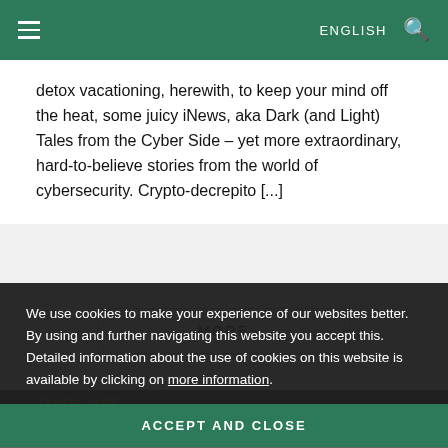ENGLISH
detox vacationing, herewith, to keep your mind off the heat, some juicy iNews, aka Dark (and Light) Tales from the Cyber Side – yet more extraordinary, hard-to-believe stories from the world of cybersecurity. Crypto-decrepito [...]
MORE
[Figure (screenshot): Partially visible background image with TRAVEL VLOG label and Antarctic sketches text]
We use cookies to make your experience of our websites better. By using and further navigating this website you accept this. Detailed information about the use of cookies on this website is available by clicking on more information.
ACCEPT AND CLOSE